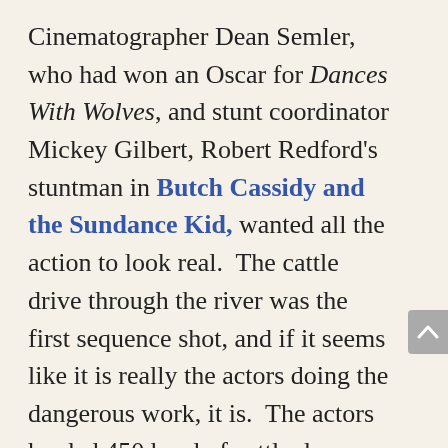Cinematographer Dean Semler, who had won an Oscar for Dances With Wolves, and stunt coordinator Mickey Gilbert, Robert Redford's stuntman in Butch Cassidy and the Sundance Kid, wanted all the action to look real.  The cattle drive through the river was the first sequence shot, and if it seems like it is really the actors doing the dangerous work, it is.  The actors herded 450 head of cattle down a treacherously muddy slope created by firehoses and giant fans.  Nets were downriver, in case anybody got washed away downstream.  Crystal's stuntman, Brian Burrows, did all the real dangerous stuff, but it's Crystal (with a wetsuit under his cowboy